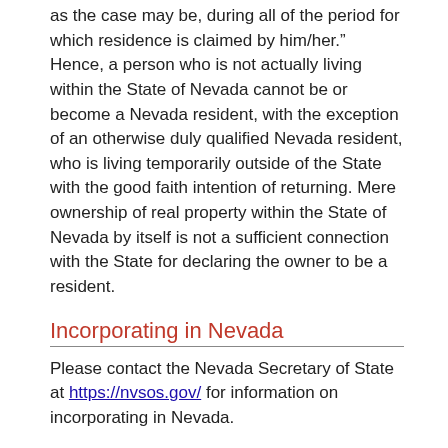as the case may be, during all of the period for which residence is claimed by him/her.”  Hence, a person who is not actually living within the State of Nevada cannot be or become a Nevada resident, with the exception of an otherwise duly qualified Nevada resident, who is living temporarily outside of the State with the good faith intention of returning.  Mere ownership of real property within the State of Nevada by itself is not a sufficient connection with the State for declaring the owner to be a resident.
Incorporating in Nevada
Please contact the Nevada Secretary of State at https://nvsos.gov/ for information on incorporating in Nevada.
Unemployment Tax and W2’s
The Department of Taxation does not handle unemployment compensation issues.  For information